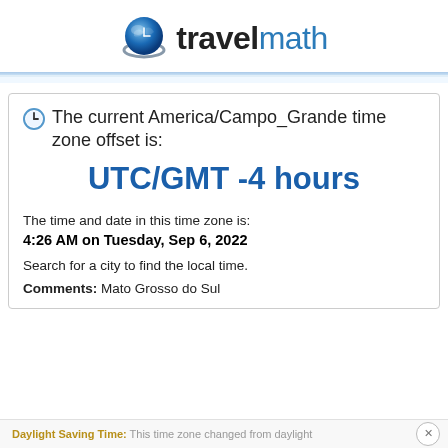[Figure (logo): TravelMath logo with globe icon and brand name 'travelmath' in bold/regular split]
The current America/Campo_Grande time zone offset is:
UTC/GMT -4 hours
The time and date in this time zone is:
4:26 AM on Tuesday, Sep 6, 2022
Search for a city to find the local time.
Comments: Mato Grosso do Sul
Daylight Saving Time: This time zone changed from daylight